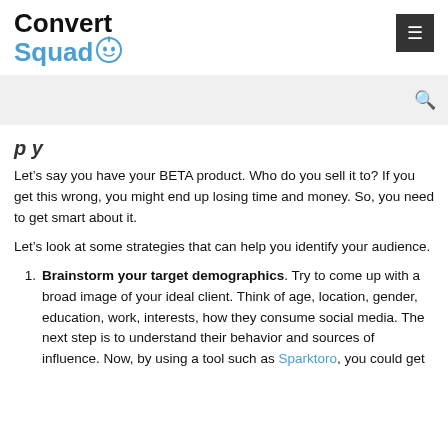Convert Squad
Let's say you have your BETA product. Who do you sell it to? If you get this wrong, you might end up losing time and money. So, you need to get smart about it.
Let's look at some strategies that can help you identify your audience.
Brainstorm your target demographics. Try to come up with a broad image of your ideal client. Think of age, location, gender, education, work, interests, how they consume social media. The next step is to understand their behavior and sources of influence. Now, by using a tool such as Sparktoro, you could get